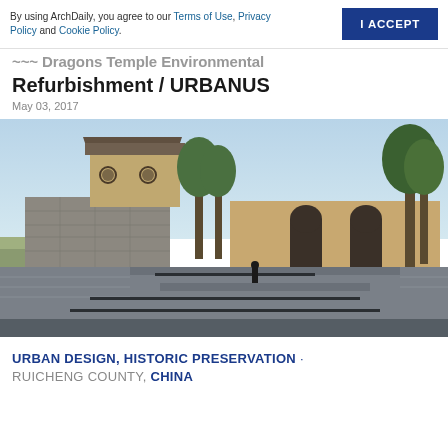By using ArchDaily, you agree to our Terms of Use, Privacy Policy and Cookie Policy. | I ACCEPT
Five Dragons Temple Environmental Refurbishment / URBANUS
May 03, 2017
[Figure (photo): Exterior photograph of the Five Dragons Temple refurbishment project showing a historic stone wall complex with a traditional Chinese temple building, circular window openings, trees, and stepped stone plaza area with a lone figure standing on the steps. Clear blue sky background.]
URBAN DESIGN, HISTORIC PRESERVATION · RUICHENG COUNTY, CHINA